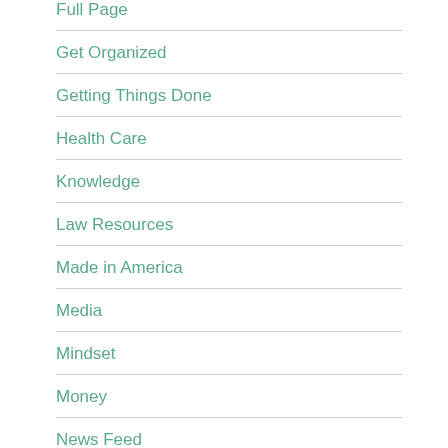Full Page
Get Organized
Getting Things Done
Health Care
Knowledge
Law Resources
Made in America
Media
Mindset
Money
News Feed